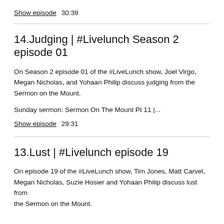Show episode   30:39
14.Judging | #Livelunch Season 2 episode 01
On Season 2 episode 01 of the #LiveLunch show, Joel Virgo, Megan Nicholas, and Yohaan Philip discuss judging from the Sermon on the Mount.
Sunday sermon: Sermon On The Mount Pt 11 |...
Show episode   29:31
13.Lust | #Livelunch episode 19
On episode 19 of the #LiveLunch show, Tim Jones, Matt Carvel, Megan Nicholas, Suzie Hosier and Yohaan Philip discuss lust from the Sermon on the Mount.